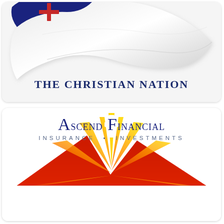[Figure (logo): A waving white flag with a blue field and red cross in the upper left corner, partially shown from top]
THE CHRISTIAN NATION
[Figure (logo): Ascend Financial logo: a sunrise with radiating rays in red-orange-yellow gradient, a mountain silhouette in red at the base, and a white cross at the apex of the sunburst in yellow/gold]
Ascend Financial
INSURANCE • INVESTMENTS